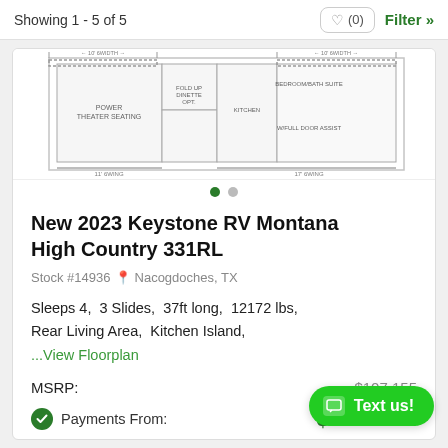Showing 1 - 5 of 5
[Figure (illustration): RV floorplan diagram showing interior layout of Montana High Country 331RL with labeled rooms and features]
New 2023 Keystone RV Montana High Country 331RL
Stock #14936  Nacogdoches, TX
Sleeps 4,  3 Slides,  37ft long,  12172 lbs,
Rear Living Area,  Kitchen Island,
...View Floorplan
MSRP:   $107,155
Payments From:   $626 /mo.
VIEW DETAILS »